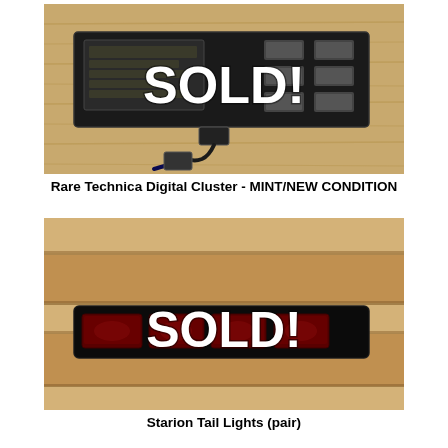[Figure (photo): Photo of a Rare Technica Digital Cluster instrument panel laid flat on a wooden surface, with a SOLD! watermark overlay in white bold text]
Rare Technica Digital Cluster - MINT/NEW CONDITION
[Figure (photo): Photo of Starion Tail Lights (pair) displayed on wooden shelf/steps, with a SOLD! watermark overlay in white bold text]
Starion Tail Lights (pair)